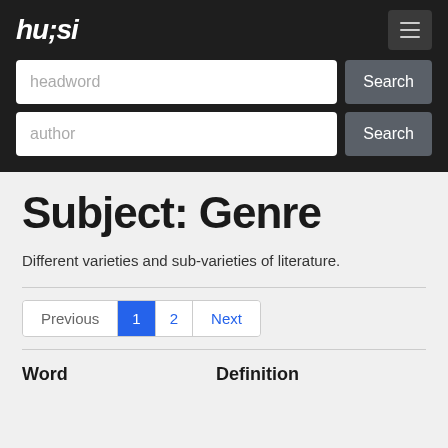hursi
headword
Search
author
Search
Subject: Genre
Different varieties and sub-varieties of literature.
Previous 1 2 Next
Word	Definition